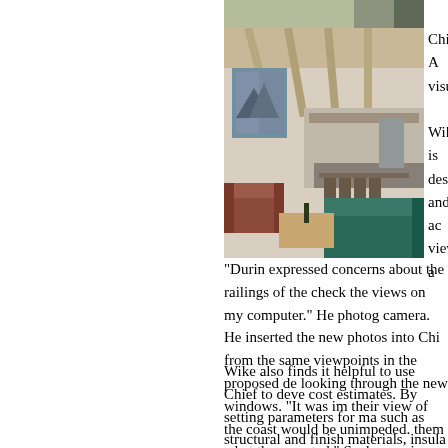[Figure (photo): Interior render of a modern open-plan living space with vaulted ceiling, kitchen area in background, brown armchair on left, green sofa on right, and large windows showing mountain/coastal views.]
Chief A visuali

Wike is design and ac view a

"Durin expressed concerns about the railings of the check the views on my computer." He photog camera. He inserted the new photos into Chi from the same viewpoints in the proposed de looking through the new windows. "It was im their view of the coast would be unimpeded. them what they wanted." Such experiences o

Wike also finds it helpful to use Chief to deve cost estimates. By setting parameters for ma such as structural and finish materials, insula and cabinet styles, he gets tabular material t automatically as he designs. He then gives th to a builder who adds labor costs. "Doing the estimates at an early stage helps guarantee get built," says Wike.

Wike has yet to use one new feature, the Ho space diagram tool. Through a series of dialo input square footage for each space in a new